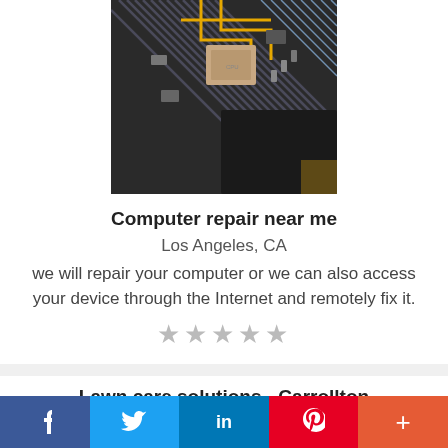[Figure (photo): Close-up photo of a computer motherboard/circuit board with yellow and silver components, heat sinks, and electronic parts visible from an angled top-down perspective.]
Computer repair near me
Los Angeles, CA
we will repair your computer or we can also access your device through the Internet and remotely fix it.
★★★★★
Lawn care solutions - Carrollton
f  Twitter  in  Pinterest  +